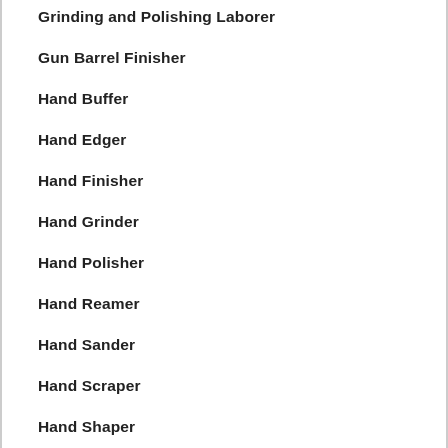Grinding and Polishing Laborer
Gun Barrel Finisher
Hand Buffer
Hand Edger
Hand Finisher
Hand Grinder
Hand Polisher
Hand Reamer
Hand Sander
Hand Scraper
Hand Shaper
Hand Stone Polisher